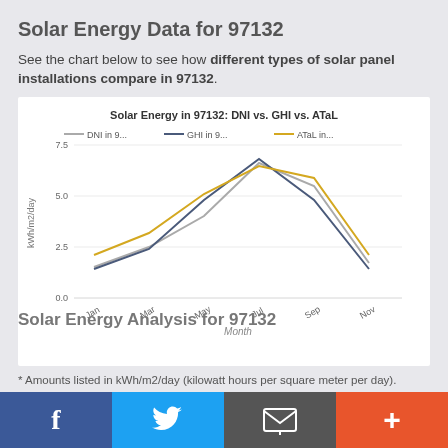Solar Energy Data for 97132
See the chart below to see how different types of solar panel installations compare in 97132.
[Figure (line-chart): Solar Energy in 97132: DNI vs. GHI vs. ATaL]
* Amounts listed in kWh/m2/day (kilowatt hours per square meter per day).
* See glossary & definitions below.
Solar Energy Analysis for 97132